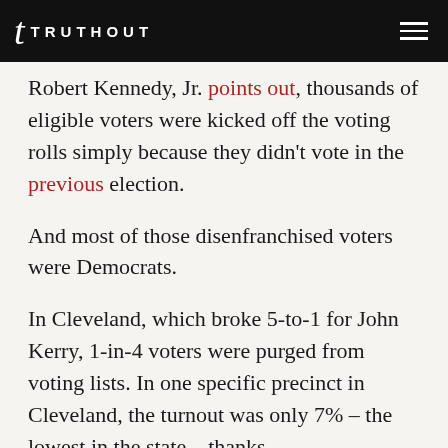TRUTHOUT
Robert Kennedy, Jr. points out, thousands of eligible voters were kicked off the voting rolls simply because they didn't vote in the previous election.
And most of those disenfranchised voters were Democrats.
In Cleveland, which broke 5-to-1 for John Kerry, 1-in-4 voters were purged from voting lists. In one specific precinct in Cleveland, the turnout was only 7% – the lowest in the state – thanks